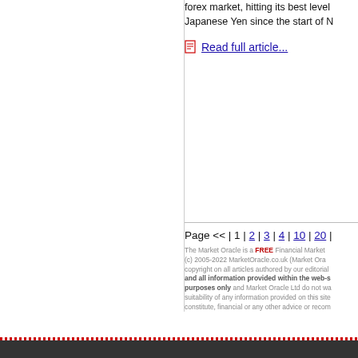forex market, hitting its best level Japanese Yen since the start of N
Read full article...
Page << | 1 | 2 | 3 | 4 | 10 | 20 |
The Market Oracle is a FREE Financial Market (c) 2005-2022 MarketOracle.co.uk (Market Ora copyright on all articles authored by our editorial and all information provided within the web-s purposes only and Market Oracle Ltd do not wa suitability of any information provided on this site constitute, financial or any other advice or recom meant to be investment advice or solicitation or positions. We do not give investment advice and opinion only and should not be construed in any recommendations to enter into a market position bonds, commodity or any other financial instrum independent professional advice is obtained bef trading decisions. By using this site you agree to time we promote or endorse certain products / s your time and attention. In return for that endors you purchase directly though us may we be com products.
Terms of Use | Pri